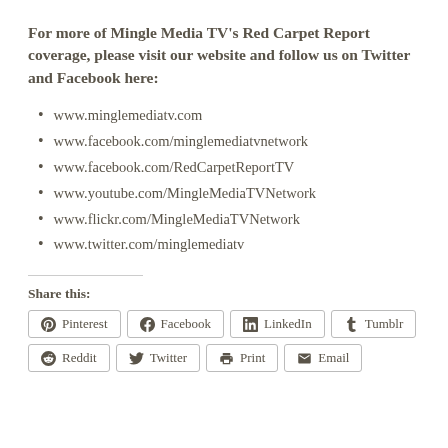For more of Mingle Media TV's Red Carpet Report coverage, please visit our website and follow us on Twitter and Facebook here:
www.minglemediatv.com
www.facebook.com/minglemediatvnetwork
www.facebook.com/RedCarpetReportTV
www.youtube.com/MingleMediaTVNetwork
www.flickr.com/MingleMediaTVNetwork
www.twitter.com/minglemediatv
Share this:
Pinterest  Facebook  LinkedIn  Tumblr  Reddit  Twitter  Print  Email